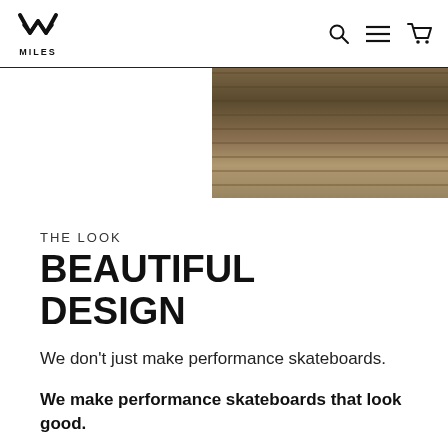MILES (logo) [search] [menu] [cart]
[Figure (photo): Close-up photo of wooden skateboard deck showing wood grain layers and texture, partial view cut off on right side of page]
THE LOOK
BEAUTIFUL DESIGN
We don't just make performance skateboards.
We make performance skateboards that look good.